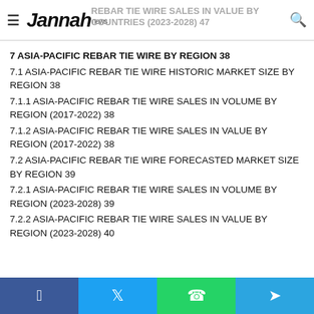Jannah news | REBAR TIE WIRE SALES IN VALUE BY COUNTRIES (2023-2028) 47
7 ASIA-PACIFIC REBAR TIE WIRE BY REGION 38
7.1 ASIA-PACIFIC REBAR TIE WIRE HISTORIC MARKET SIZE BY REGION 38
7.1.1 ASIA-PACIFIC REBAR TIE WIRE SALES IN VOLUME BY REGION (2017-2022) 38
7.1.2 ASIA-PACIFIC REBAR TIE WIRE SALES IN VALUE BY REGION (2017-2022) 38
7.2 ASIA-PACIFIC REBAR TIE WIRE FORECASTED MARKET SIZE BY REGION 39
7.2.1 ASIA-PACIFIC REBAR TIE WIRE SALES IN VOLUME BY REGION (2023-2028) 39
7.2.2 ASIA-PACIFIC REBAR TIE WIRE SALES IN VALUE BY REGION (2023-2028) 40
Facebook | Twitter | WhatsApp | Telegram